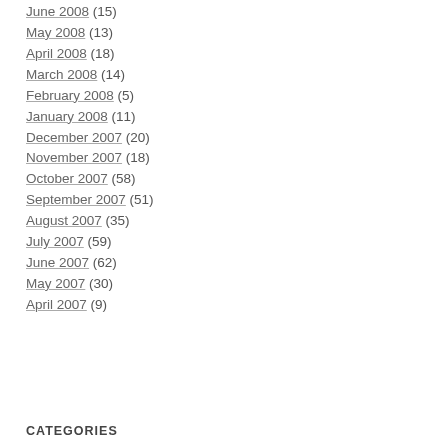June 2008 (15)
May 2008 (13)
April 2008 (18)
March 2008 (14)
February 2008 (5)
January 2008 (11)
December 2007 (20)
November 2007 (18)
October 2007 (58)
September 2007 (51)
August 2007 (35)
July 2007 (59)
June 2007 (62)
May 2007 (30)
April 2007 (9)
CATEGORIES